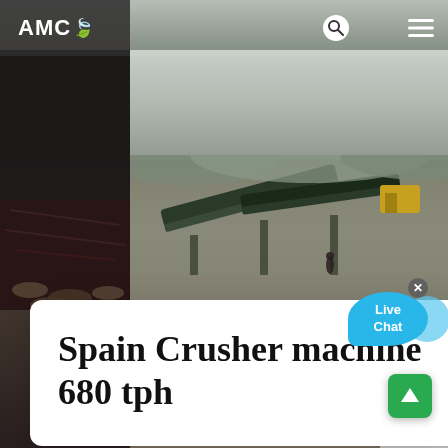[Figure (photo): Aerial view of a quarry/crusher industrial site with conveyor belts, machinery, and industrial structures. Left side shows dark rock/crusher equipment strip. Background shows distant hills and overcast sky. Foreground shows dirt/gravel ground area with a worker figure. Right side shows industrial tower/cone crusher structure.]
AMC [leaf icon] | search icon | moon icon | menu icon
Spain Crusher machine 680 tph
[Figure (infographic): Live Chat speech bubble overlay in blue with 'Live Chat' text and a close X button]